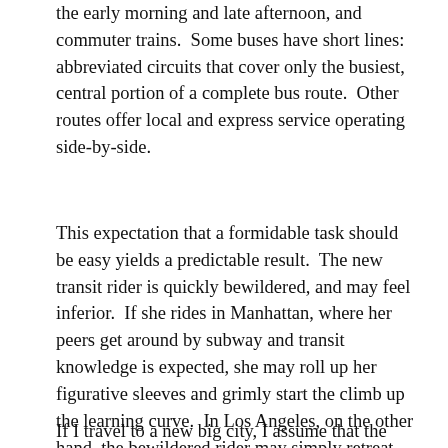the early morning and late afternoon, and commuter trains.  Some buses have short lines: abbreviated circuits that cover only the busiest, central portion of a complete bus route.  Other routes offer local and express service operating side-by-side.
This expectation that a formidable task should be easy yields a predictable result.  The new transit rider is quickly bewildered, and may feel inferior.  If she rides in Manhattan, where her peers get around by subway and transit knowledge is expected, she may roll up her figurative sleeves and grimly start the climb up the learning curve.  In Los Angeles, on the other hand, the bewildered rider may simply retreat indignantly to his car, with the private shame of a parent stumped by a child's trigonometry homework.
If I travel to a new big city, I assume that the poor learned